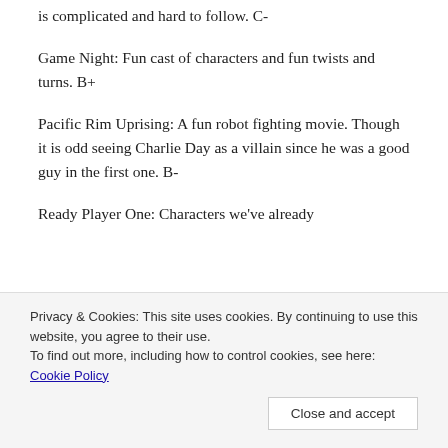is complicated and hard to follow. C-
Game Night: Fun cast of characters and fun twists and turns. B+
Pacific Rim Uprising: A fun robot fighting movie. Though it is odd seeing Charlie Day as a villain since he was a good guy in the first one. B-
Ready Player One: Characters we've already
Privacy & Cookies: This site uses cookies. By continuing to use this website, you agree to their use.
To find out more, including how to control cookies, see here: Cookie Policy
Close and accept